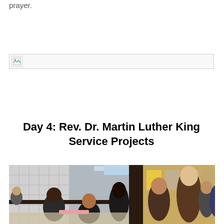prayer.
[Figure (photo): Broken/missing image placeholder with small icon in top-left corner]
Day 4: Rev. Dr. Martin Luther King Service Projects
[Figure (photo): Group photo of smiling students and volunteers inside a school cafeteria setting, taken during a Martin Luther King service project event]